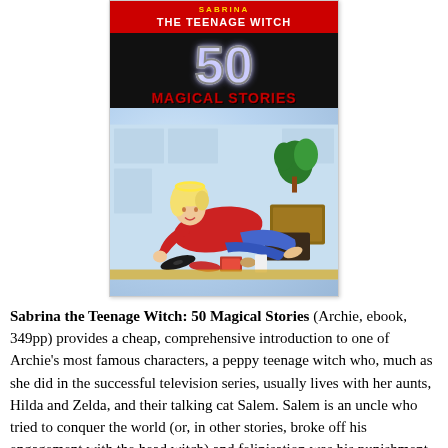[Figure (illustration): Book cover of 'Sabrina the Teenage Witch: 50 Magical Stories' with gold border, red top banner, large '50' in metallic letters, 'Magical Stories' in red, and comic illustration of Sabrina lounging on the floor surrounded by records and items, on a light blue background.]
Sabrina the Teenage Witch: 50 Magical Stories (Archie, ebook, 349pp) provides a cheap, comprehensive introduction to one of Archie's most famous characters, a peppy teenage witch who, much as she did in the successful television series, usually lives with her aunts, Hilda and Zelda, and their talking cat Salem. Salem is an uncle who tried to conquer the world (or, in other stories, broke off his engagement with the head witch) and felinisation was his punishment. Sabrina is a good-hearted girl, but isn't above